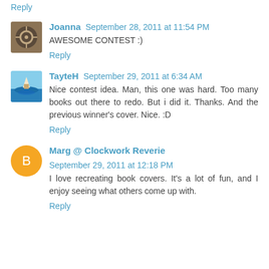Reply
Joanna  September 28, 2011 at 11:54 PM
AWESOME CONTEST :)
Reply
TayteH  September 29, 2011 at 6:34 AM
Nice contest idea. Man, this one was hard. Too many books out there to redo. But i did it. Thanks. And the previous winner's cover. Nice. :D
Reply
Marg @ Clockwork Reverie  September 29, 2011 at 12:18 PM
I love recreating book covers. It's a lot of fun, and I enjoy seeing what others come up with.
Reply